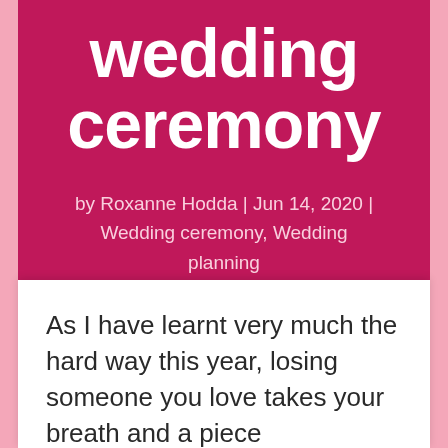wedding ceremony
by Roxanne Hodda | Jun 14, 2020 | Wedding ceremony, Wedding planning
As I have learnt very much the hard way this year, losing someone you love takes your breath and a piece